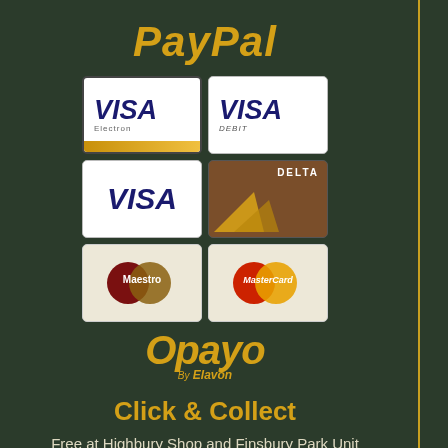[Figure (logo): PayPal logo text in gold italic bold font]
[Figure (infographic): Grid of 6 payment card logos: Visa Electron, Visa Debit, Visa, Delta, Maestro, MasterCard]
[Figure (logo): Opayo by Elavon logo in gold italic font]
Click & Collect
Free at Highbury Shop and Finsbury Park Unit
Local London Delivery